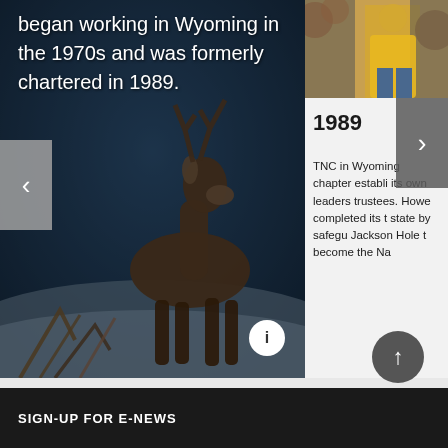[Figure (photo): A deer/buck silhouetted against a dark blue twilight background, standing on rocky ground with antler sticks visible in the foreground. Overlay text reads: 'began working in Wyoming in the 1970s and was formerly chartered in 1989.']
began working in Wyoming in the 1970s and was formerly chartered in 1989.
[Figure (photo): Partial photo of a person in a yellow shirt against autumn foliage, visible in the top-right corner panel.]
1989
TNC in Wyoming chapter established its own leadership trustees. However, completed its trusts state by safeguarding Jackson Hole that become the Na
SIGN-UP FOR E-NEWS